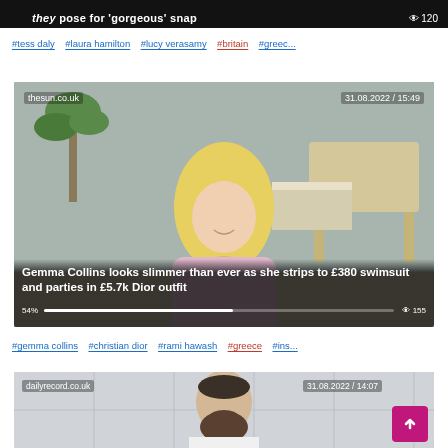[Figure (screenshot): Partial top strip of a news article thumbnail with white text headline '…they pose for gorgeous snap' and view count '120' on dark background]
#tess daly  #laura hamilton  #lucy verasamy  #britain  #greec...
[Figure (screenshot): News article card from thesun.co.uk dated 31.08.2022 / 15:49 showing a blonde woman in a pink outfit with headline 'Gemma Collins looks slimmer than ever as she strips to £380 swimsuit and parties in £5.7k Dior outfit' with progress bar at 54% and view count 155]
#gemma collins  #christian dior  #rami hawash  #greece  #ins...
[Figure (screenshot): News article card from dailyrecord.co.uk dated 31.08.2022 / 14:07 showing a bearded man in white shirt with back-to-top button]